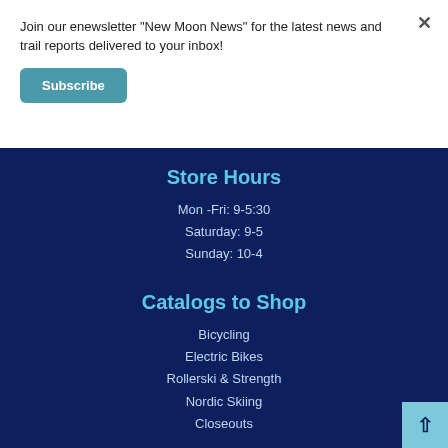Join our enewsletter "New Moon News" for the latest news and trail reports delivered to your inbox!
Subscribe
Store Hours
Mon -Fri: 9-5:30
Saturday: 9-5
Sunday: 10-4
Catalogs to Shop
Bicycling
Electric Bikes
Rollerski & Strength
Nordic Skiing
Closeouts